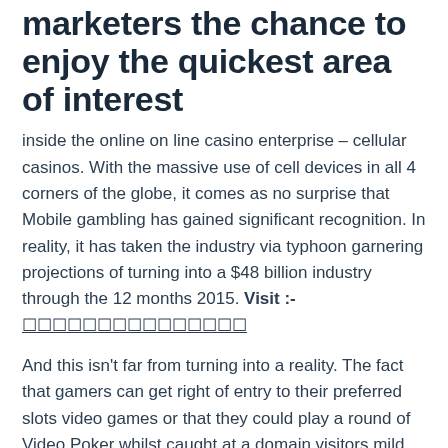marketers the chance to enjoy the quickest area of interest
inside the online on line casino enterprise – cellular casinos. With the massive use of cell devices in all 4 corners of the globe, it comes as no surprise that Mobile gambling has gained significant recognition. In reality, it has taken the industry via typhoon garnering projections of turning into a $48 billion industry through the 12 months 2015. Visit :- ☐☐☐☐☐☐☐☐☐☐☐☐☐☐☐
And this isn't far from turning into a reality. The fact that gamers can get right of entry to their preferred slots video games or that they could play a round of Video Poker whilst caught at a domain visitors mild, has made cellular on-line on line casino playing the selection of many.
For such cause, the possibilities for earning earnings as an partner are countless. Many of the mobile casinos